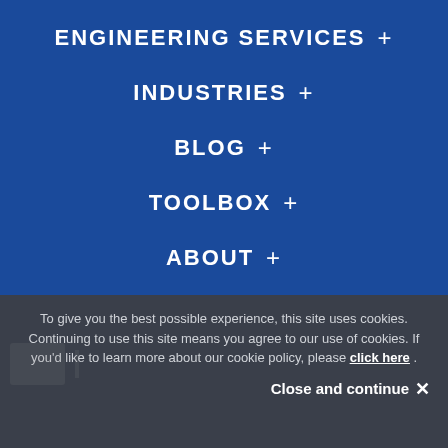ENGINEERING SERVICES +
INDUSTRIES +
BLOG +
TOOLBOX +
ABOUT +
To give you the best possible experience, this site uses cookies. Continuing to use this site means you agree to our use of cookies. If you'd like to learn more about our cookie policy, please click here .
Close and continue ×